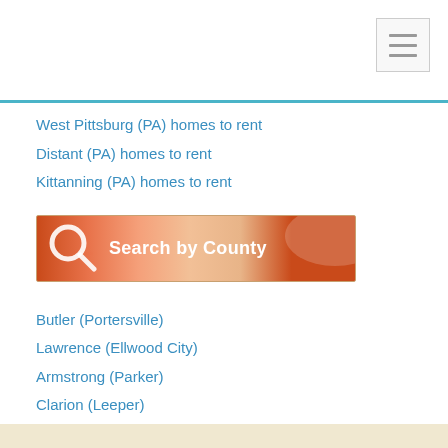West Pittsburg (PA) homes to rent
Distant (PA) homes to rent
Kittanning (PA) homes to rent
[Figure (illustration): Search by County button with orange gradient background and magnifying glass icon]
Butler (Portersville)
Lawrence (Ellwood City)
Armstrong (Parker)
Clarion (Leeper)
Indiana (Beyer)
[Figure (logo): PA state logo with speech bubble and orange PA text]